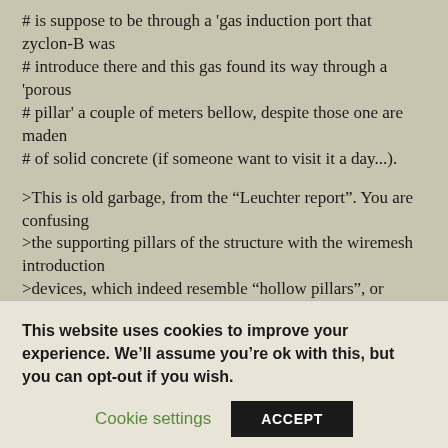# is suppose to be through a 'gas induction port that zyclon-B was
# introduce there and this gas found its way through a 'porous
# pillar' a couple of meters bellow, despite those one are maden
# of solid concrete (if someone want to visit it a day...).
>This is old garbage, from the “Leuchter report”. You are confusing
>the supporting pillars of the structure with the wiremesh introduction
>devices, which indeed resemble “hollow pillars”, or
This website uses cookies to improve your experience. We’ll assume you’re ok with this, but you can opt-out if you wish.
Cookie settings
ACCEPT